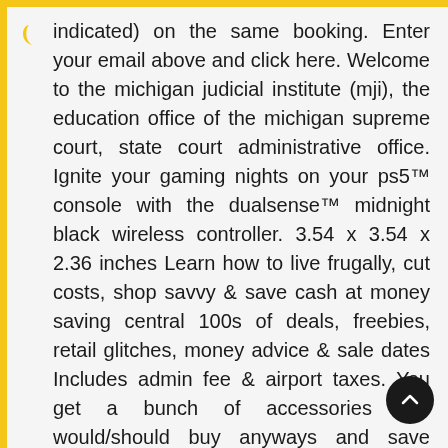indicated) on the same booking. Enter your email above and click here. Welcome to the michigan judicial institute (mji), the education office of the michigan supreme court, state court administrative office. Ignite your gaming nights on your ps5™ console with the dualsense™ midnight black wireless controller. 3.54 x 3.54 x 2.36 inches Learn how to live frugally, cut costs, shop savvy & save cash at money saving central 100s of deals, freebies, retail glitches, money advice & sale dates Includes admin fee & airport taxes. You get a bunch of accessories you would/should buy anyways and save about $150! Register last name *last name: Register first name *first name:. Tripod keeps the drone in one spot while looking at you like an automated tripod in